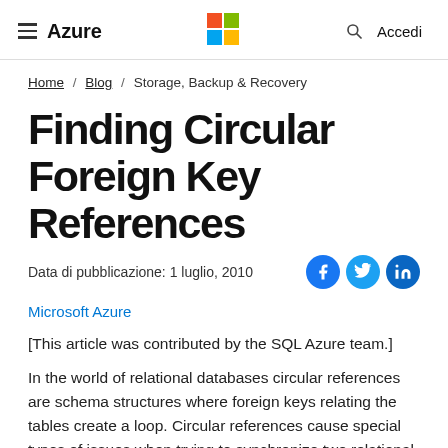Azure — Microsoft logo — Search — Accedi
Home / Blog / Storage, Backup & Recovery
Finding Circular Foreign Key References
Data di pubblicazione: 1 luglio, 2010
Microsoft Azure
[This article was contributed by the SQL Azure team.]
In the world of relational databases circular references are schema structures where foreign keys relating the tables create a loop. Circular references cause special types of issues when trying to synchronize two relational database